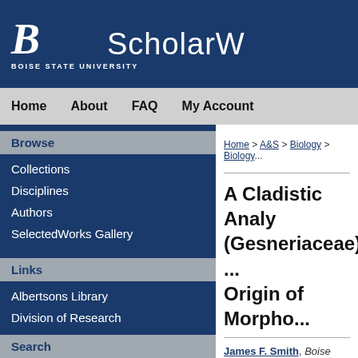BOISE STATE UNIVERSITY ScholarW...
Home   About   FAQ   My Account
Browse
Collections
Disciplines
Authors
SelectedWorks Gallery
Links
Albertsons Library
Division of Research
Graduate College
Search
Home > A&S > Biology > Biology...
A Cladistic Analy... (Gesneriaceae) ... Origin of Morpho...
James F. Smith, Boise State U...
Cynthia L. Carroll, Boise Stat...